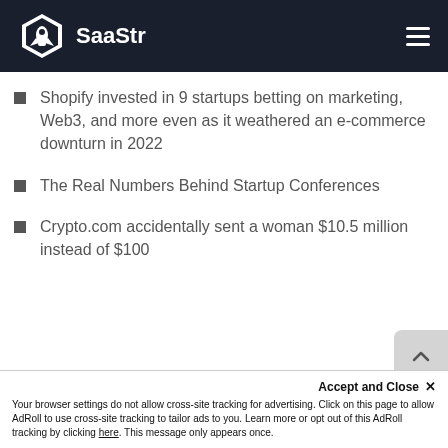SaaStr
Shopify invested in 9 startups betting on marketing, Web3, and more even as it weathered an e-commerce downturn in 2022
The Real Numbers Behind Startup Conferences
Crypto.com accidentally sent a woman $10.5 million instead of $100
Accept and Close ✕
Your browser settings do not allow cross-site tracking for advertising. Click on this page to allow AdRoll to use cross-site tracking to tailor ads to you. Learn more or opt out of this AdRoll tracking by clicking here. This message only appears once.